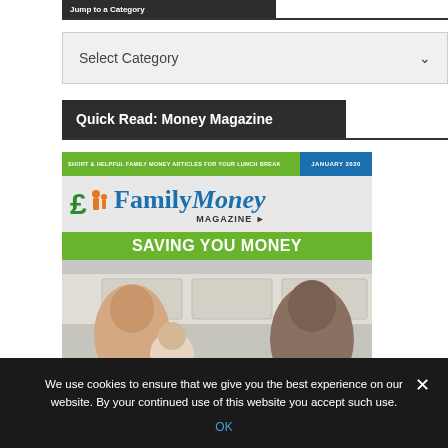Jump to a Category
Select Category
Quick Read: Money Magazine
[Figure (illustration): Cover of Family Money Magazine, January 2020. Green header bar reading SHORT & HELPFUL FAMILY MONEY ARTICLES FOR YOUR LUNCH BREAK, blue box with JANUARY 2020. Large pound sign with family icon, FamilyMoney MAGAZINE title in blue. Green banner: SAVING YOU MONEY. Background photo of a family.]
We use cookies to ensure that we give you the best experience on our website. By your continued use of this website you accept such use.
OK